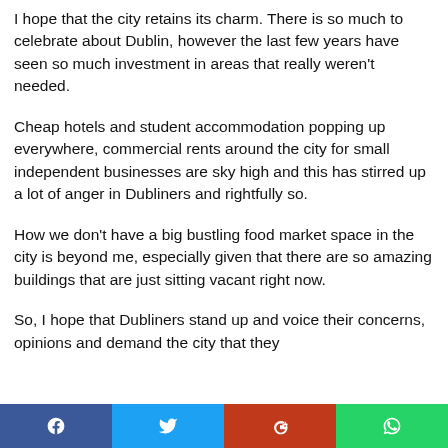I hope that the city retains its charm. There is so much to celebrate about Dublin, however the last few years have seen so much investment in areas that really weren't needed.
Cheap hotels and student accommodation popping up everywhere, commercial rents around the city for small independent businesses are sky high and this has stirred up a lot of anger in Dubliners and rightfully so.
How we don't have a big bustling food market space in the city is beyond me, especially given that there are so amazing buildings that are just sitting vacant right now.
So, I hope that Dubliners stand up and voice their concerns, opinions and demand the city that they
Facebook | Twitter | Google+ | WhatsApp